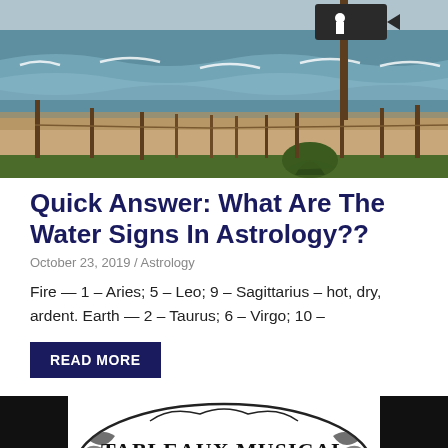[Figure (photo): Beach scene with wooden posts/stakes along sandy shore, ocean waves in background, green plants in foreground, and a directional sign on a post at top right]
Quick Answer: What Are The Water Signs In Astrology??
October 23, 2019 / Astrology
Fire — 1 – Aries; 5 – Leo; 9 – Sagittarius – hot, dry, ardent. Earth — 2 – Taurus; 6 – Virgo; 10 –
READ MORE
[Figure (illustration): Vintage black and white decorative illustration with ornate border text reading 'TABLEAUX MUSICAL FOR SCHOOLS AND SOCIAL ENTERTAINMENTS' with floral decorative elements]